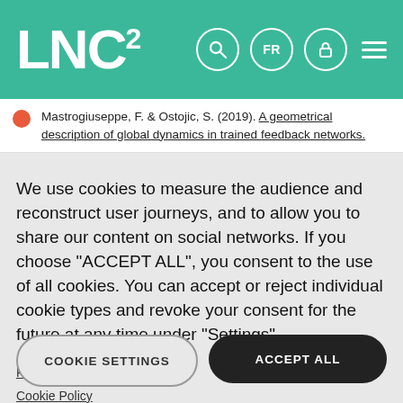LNC²
Mastrogiuseppe, F. & Ostojic, S. (2019). A geometrical description of global dynamics in trained feedback networks.
We use cookies to measure the audience and reconstruct user journeys, and to allow you to share our content on social networks. If you choose "ACCEPT ALL", you consent to the use of all cookies. You can accept or reject individual cookie types and revoke your consent for the future at any time under "Settings".
Privacy policy
Cookie Policy
COOKIE SETTINGS
ACCEPT ALL